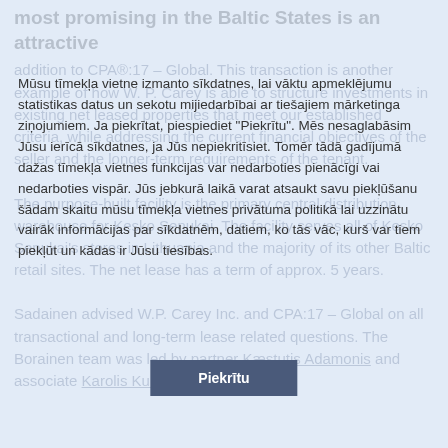most promising in the Baltic States is an attractive addition to CPA®:17 – Global. This transaction is another example of how W. P. Carey is able to structure investments in existing net leased properties that meet our established criteria, while addressing the current financial objectives of the seller and the longer-term requirements of the tenant.
The purpose-built facility is the primary central distribution warehouse for Kesko Senukai. The facility serves all of Kesko Senukai's stores in Lithuania and the majority of its other Baltic retail sites. The net lease has a term of approx. 5 years.
Sadainen advised W.P. Carey Inc. and CPA:17 – Global on all transactional and long-term lease related questions. The Borainen team was led by partner Kæstutis Adamonis and associate Karolis Kunigėlis.